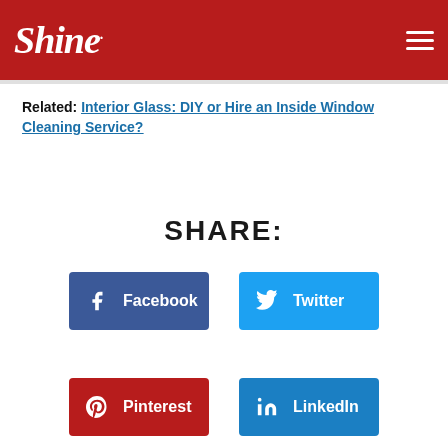Shine
Related: Interior Glass: DIY or Hire an Inside Window Cleaning Service?
SHARE:
Facebook
Twitter
Pinterest
LinkedIn